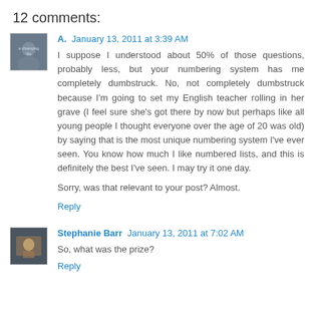12 comments:
A.  January 13, 2011 at 3:39 AM
I suppose I understood about 50% of those questions, probably less, but your numbering system has me completely dumbstruck. No, not completely dumbstruck because I'm going to set my English teacher rolling in her grave (I feel sure she's got there by now but perhaps like all young people I thought everyone over the age of 20 was old) by saying that is the most unique numbering system I've ever seen. You know how much I like numbered lists, and this is definitely the best I've seen. I may try it one day.
Sorry, was that relevant to your post? Almost.
Reply
Stephanie Barr  January 13, 2011 at 7:02 AM
So, what was the prize?
Reply